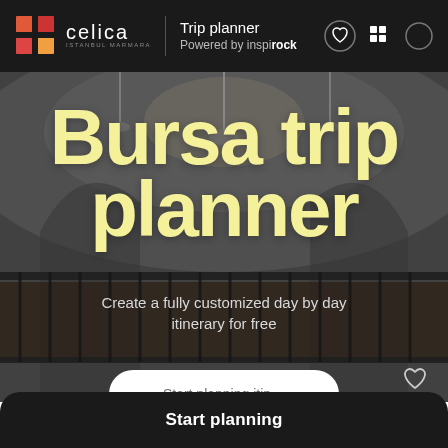celica | Trip planner Powered by inspirock
Bursa trip planner
Create a fully customized day by day itinerary for free
[Figure (screenshot): Mobile app screenshot showing a trip planner interface with a mosque interior background image. Header shows Celica logo and 'Trip planner / Powered by inspirock' text with icons. Large bold yellow text reads 'Bursa trip planner'. Subtitle reads 'Create a fully customized day by day itinerary for free'. A partially visible white rounded button appears at bottom.]
Start planning